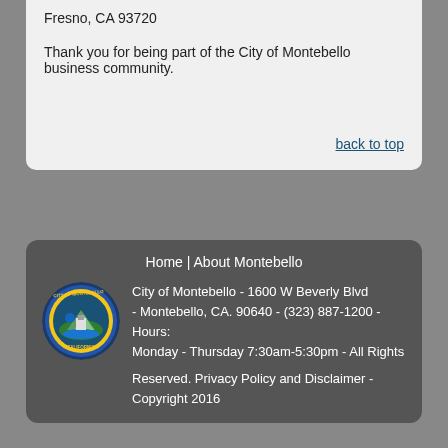Fresno, CA 93720
Thank you for being part of the City of Montebello business community.
back to top
Home | About Montebello
City of Montebello - 1600 W Beverly Blvd - Montebello, CA. 90640 - (323) 887-1200 - Hours: Monday - Thursday 7:30am-5:30pm - All Rights Reserved. Privacy Policy and Disclaimer - Copyright 2016